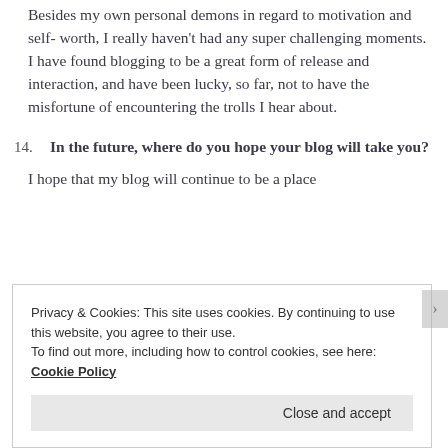Besides my own personal demons in regard to motivation and self- worth, I really haven't had any super challenging moments. I have found blogging to be a great form of release and interaction, and have been lucky, so far, not to have the misfortune of encountering the trolls I hear about.
14. In the future, where do you hope your blog will take you?
I hope that my blog will continue to be a place...
Privacy & Cookies: This site uses cookies. By continuing to use this website, you agree to their use.
To find out more, including how to control cookies, see here: Cookie Policy